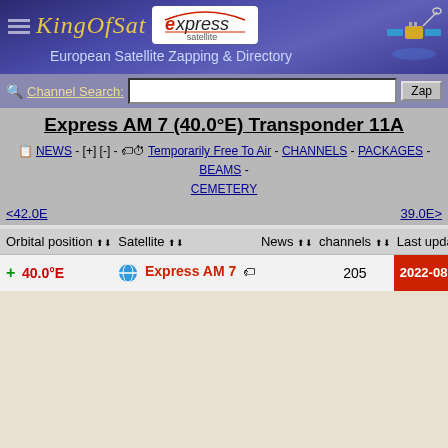KingOfSat express satellite — European Satellite Zapping & Directory
Channel Search: [input] Zap
Express AM 7 (40.0°E) Transponder 11A
NEWS - [+] [-] - Temporarily Free To Air - CHANNELS - PACKAGES - BEAMS - CEMETERY
<42.0E    39.0E>
| Orbital position | Satellite | News | channels | Last updated |
| --- | --- | --- | --- | --- |
| + 40.0°E | Express AM 7 |  | 205 | 2022-08-19 18:00 |